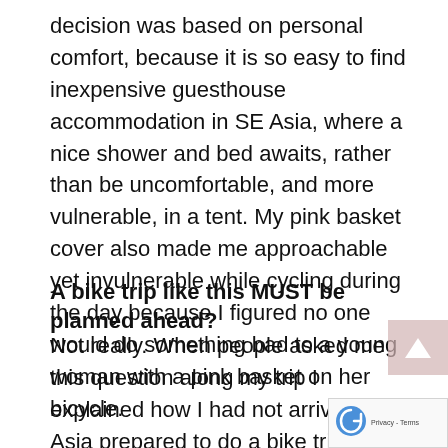decision was based on personal comfort, because it is so easy to find inexpensive guesthouse accommodation in SE Asia, where a nice shower and bed awaits, rather than be uncomfortable, and more vulnerable, in a tent. My pink basket cover also made me approachable yet invulnerable while cycling during the day because I figured no one would do something bad to a young woman with a pink basket on her bicycle.
A bike trip like this MUST be planned ahead?
Not really. When people asked me this question along my trip I explained how I had not arrived to SE Asia prepared to do a bike trip. I had arrived to do six months of backpacking, and had never done any amount of long distance cycling ever in my life. When I decided to turn my SE Asia trip into a bicycle adventure I went online didn't it bit of f...